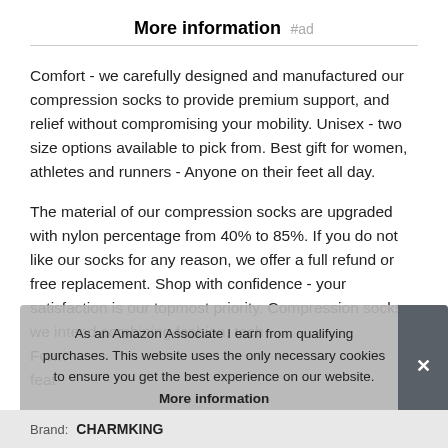More information #ad
Comfort - we carefully designed and manufactured our compression socks to provide premium support, and relief without compromising your mobility. Unisex - two size options available to pick from. Best gift for women, athletes and runners - Anyone on their feet all day.
The material of our compression socks are upgraded with nylon percentage from 40% to 85%. If you do not like our socks for any reason, we offer a full refund or free replacement. Shop with confidence - your satisfaction is our topmost priority. Compression socks - we intend combining fashion, tech... Form... feat...
As an Amazon Associate I earn from qualifying purchases. This website uses the only necessary cookies to ensure you get the best experience on our website. More information
Brand: CHARMKING